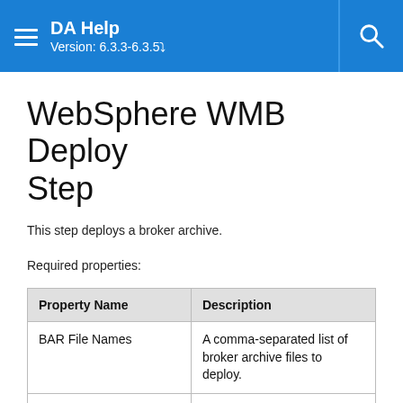DA Help Version: 6.3.3-6.3.5
WebSphere WMB Deploy Step
This step deploys a broker archive.
Required properties:
| Property Name | Description |
| --- | --- |
| BAR File Names | A comma-separated list of broker archive files to deploy. |
| Execution Group | The name of the Execution Group to deploy to. |
| IP | The IP address of the |